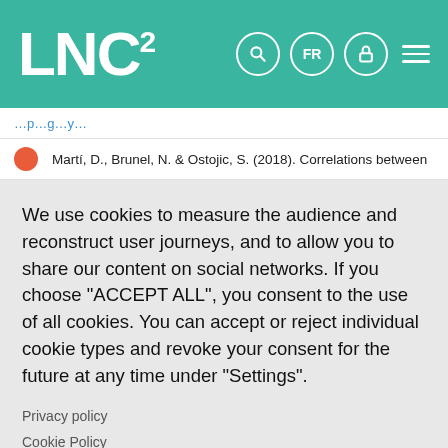LNC²
Martí, D., Brunel, N. & Ostojic, S. (2018). Correlations between
We use cookies to measure the audience and reconstruct user journeys, and to allow you to share our content on social networks. If you choose "ACCEPT ALL", you consent to the use of all cookies. You can accept or reject individual cookie types and revoke your consent for the future at any time under "Settings".
Privacy policy
Cookie Policy
COOKIE SETTINGS
ACCEPT ALL